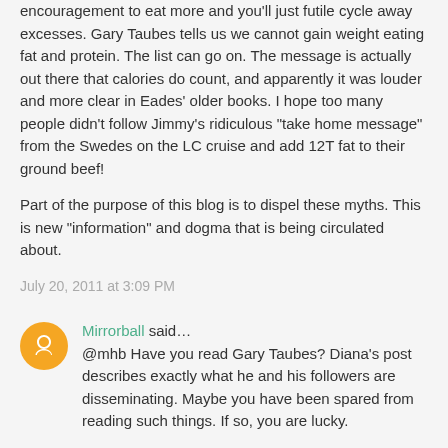encouragement to eat more and you'll just futile cycle away excesses. Gary Taubes tells us we cannot gain weight eating fat and protein. The list can go on. The message is actually out there that calories do count, and apparently it was louder and more clear in Eades' older books. I hope too many people didn't follow Jimmy's ridiculous "take home message" from the Swedes on the LC cruise and add 12T fat to their ground beef!
Part of the purpose of this blog is to dispel these myths. This is new "information" and dogma that is being circulated about.
July 20, 2011 at 3:09 PM
Mirrorball said... @mhb Have you read Gary Taubes? Diana's post describes exactly what he and his followers are disseminating. Maybe you have been spared from reading such things. If so, you are lucky.